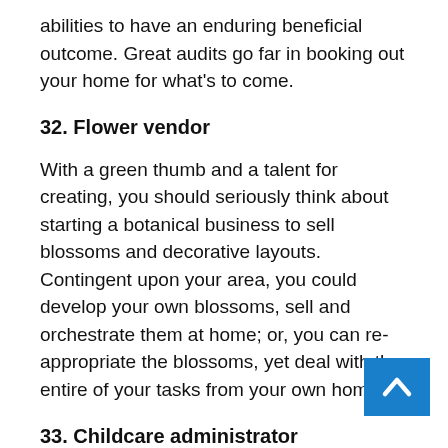abilities to have an enduring beneficial outcome. Great audits go far in booking out your home for what's to come.
32. Flower vendor
With a green thumb and a talent for creating, you should seriously think about starting a botanical business to sell blossoms and decorative layouts. Contingent upon your area, you could develop your own blossoms, sell and orchestrate them at home; or, you can re-appropriate the blossoms, yet deal with the entire of your tasks from your own home.
33. Childcare administrator
Given you have space, you can begin a childcare business by administering a couple of youngsters during the day — and extending with staff to oblige